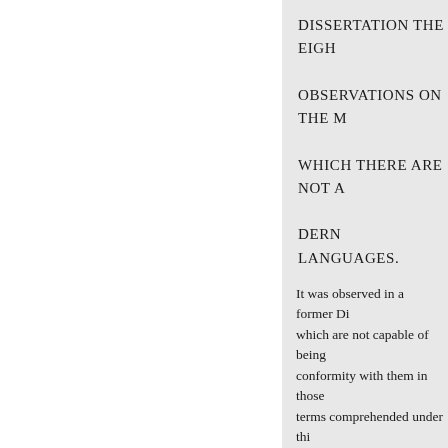DISSERTATION THE EIGHTH OBSERVATIONS ON THE MANNER IN WHICH THERE ARE NOT A FEW WORDS IN THE MODERN LANGUAGES.
It was observed in a former Dissertation, that there are words which are not capable of being translated, without some loss of conformity with them in those languages which have not terms comprehended under this description. To these belong weights, measures, and coins : also names of magistracies, judicatories, and offices.
As to the first class, it is evident that nations however distant from one another in time or place, may have coins which law or custom has established,